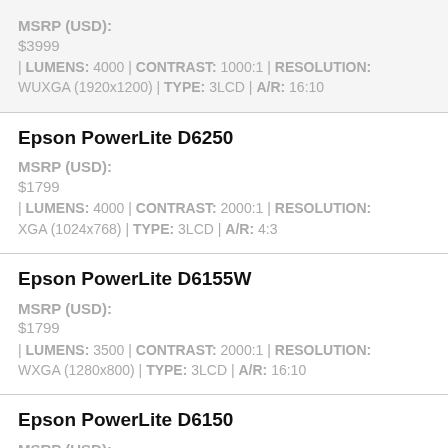MSRP (USD): $3999 | LUMENS: 4000 | CONTRAST: 1000:1 | RESOLUTION: WUXGA (1920x1200) | TYPE: 3LCD | A/R: 16:10
Epson PowerLite D6250
MSRP (USD): $1799 | LUMENS: 4000 | CONTRAST: 2000:1 | RESOLUTION: XGA (1024x768) | TYPE: 3LCD | A/R: 4:3
Epson PowerLite D6155W
MSRP (USD): $1799 | LUMENS: 3500 | CONTRAST: 2000:1 | RESOLUTION: WXGA (1280x800) | TYPE: 3LCD | A/R: 16:10
Epson PowerLite D6150
MSRP (USD):